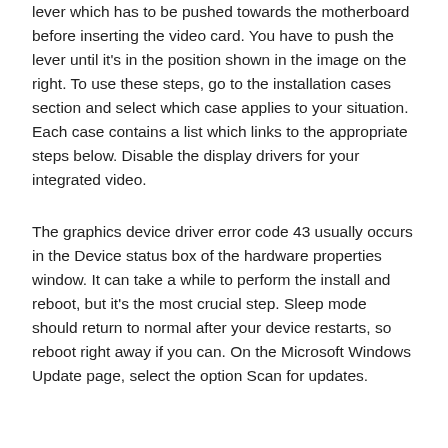lever which has to be pushed towards the motherboard before inserting the video card. You have to push the lever until it's in the position shown in the image on the right. To use these steps, go to the installation cases section and select which case applies to your situation. Each case contains a list which links to the appropriate steps below. Disable the display drivers for your integrated video.
The graphics device driver error code 43 usually occurs in the Device status box of the hardware properties window. It can take a while to perform the install and reboot, but it's the most crucial step. Sleep mode should return to normal after your device restarts, so reboot right away if you can. On the Microsoft Windows Update page, select the option Scan for updates.